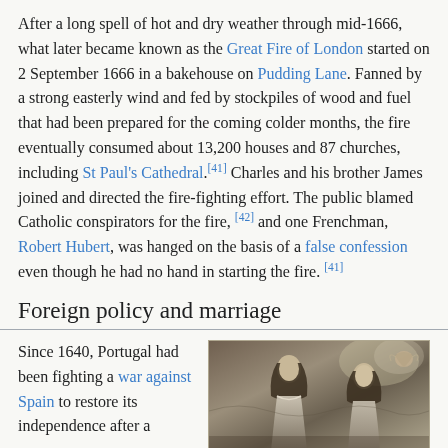After a long spell of hot and dry weather through mid-1666, what later became known as the Great Fire of London started on 2 September 1666 in a bakehouse on Pudding Lane. Fanned by a strong easterly wind and fed by stockpiles of wood and fuel that had been prepared for the coming colder months, the fire eventually consumed about 13,200 houses and 87 churches, including St Paul's Cathedral.[41] Charles and his brother James joined and directed the fire-fighting effort. The public blamed Catholic conspirators for the fire,[42] and one Frenchman, Robert Hubert, was hanged on the basis of a false confession even though he had no hand in starting the fire.[41]
Foreign policy and marriage
Since 1640, Portugal had been fighting a war against Spain to restore its independence after a
[Figure (illustration): Historical engraving/illustration showing two figures with long curly hair in period dress, with cherubs or angels in the upper right background.]